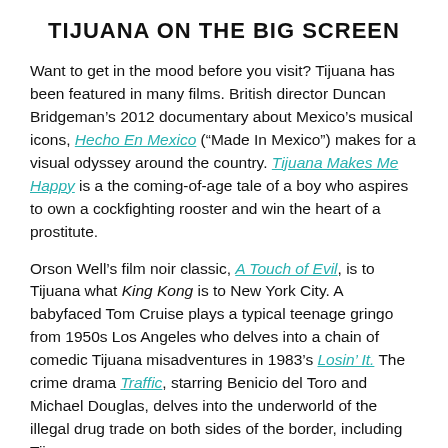TIJUANA ON THE BIG SCREEN
Want to get in the mood before you visit? Tijuana has been featured in many films. British director Duncan Bridgeman’s 2012 documentary about Mexico’s musical icons, Hecho En Mexico (“Made In Mexico”) makes for a visual odyssey around the country. Tijuana Makes Me Happy is a the coming-of-age tale of a boy who aspires to own a cockfighting rooster and win the heart of a prostitute.
Orson Well’s film noir classic, A Touch of Evil, is to Tijuana what King Kong is to New York City. A babyfaced Tom Cruise plays a typical teenage gringo from 1950s Los Angeles who delves into a chain of comedic Tijuana misadventures in 1983’s Losin’ It. The crime drama Traffic, starring Benicio del Toro and Michael Douglas, delves into the underworld of the illegal drug trade on both sides of the border, including Tijuana.